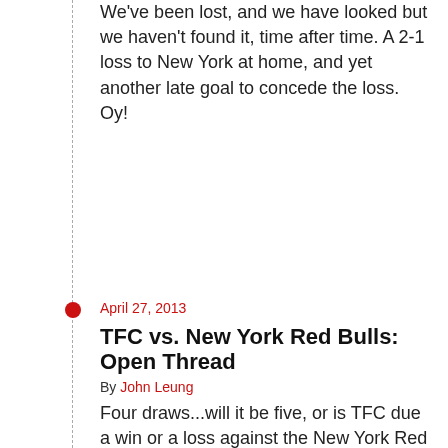We've been lost, and we have looked but we haven't found it, time after time. A 2-1 loss to New York at home, and yet another late goal to concede the loss. Oy!
April 27, 2013
TFC vs. New York Red Bulls: Open Thread
By John Leung
Four draws...will it be five, or is TFC due a win or a loss against the New York Red Bulls? Find out along with your friends at WTR.
April 27, 2013
TFC vs NY Red Bulls: Can TFC Win At Home?
By Kristin Knowles
This afternoon TFC return to league play against Thierry Henry and the New York Red Bulls. The